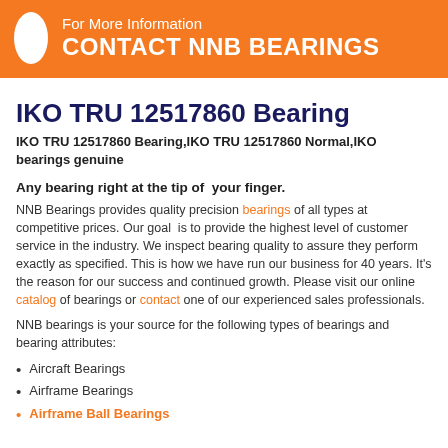For More Information
CONTACT NNB BEARINGS
IKO TRU 12517860 Bearing
IKO TRU 12517860 Bearing,IKO TRU 12517860 Normal,IKO bearings genuine
Any bearing right at the tip of your finger.
NNB Bearings provides quality precision bearings of all types at competitive prices. Our goal is to provide the highest level of customer service in the industry. We inspect bearing quality to assure they perform exactly as specified. This is how we have run our business for 40 years. It’s the reason for our success and continued growth. Please visit our online catalog of bearings or contact one of our experienced sales professionals.
NNB bearings is your source for the following types of bearings and bearing attributes:
Aircraft Bearings
Airframe Bearings
Airframe Ball Bearings